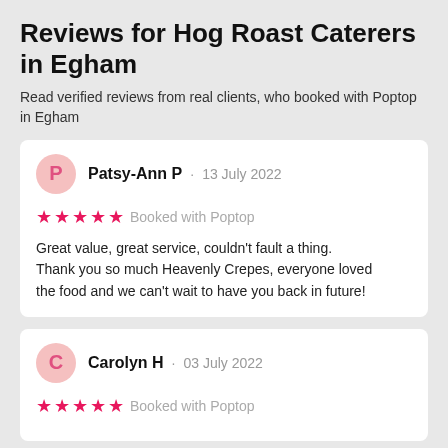Reviews for Hog Roast Caterers in Egham
Read verified reviews from real clients, who booked with Poptop in Egham
Patsy-Ann P · 13 July 2022 ★★★★★ Booked with Poptop Great value, great service, couldn't fault a thing. Thank you so much Heavenly Crepes, everyone loved the food and we can't wait to have you back in future!
Carolyn H · 03 July 2022 ★★★★★ Booked with Poptop